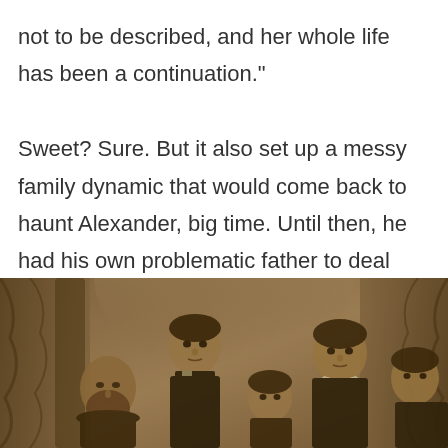not to be described, and her whole life has been a continuation."

Sweet? Sure. But it also set up a messy family dynamic that would come back to haunt Alexander, big time. Until then, he had his own problematic father to deal with.
[Figure (photo): A sepia-toned historical family portrait photograph showing several people including a man with a beard, children, and what appear to be older children or young adults, posed in a formal studio setting with draped curtains in the background.]